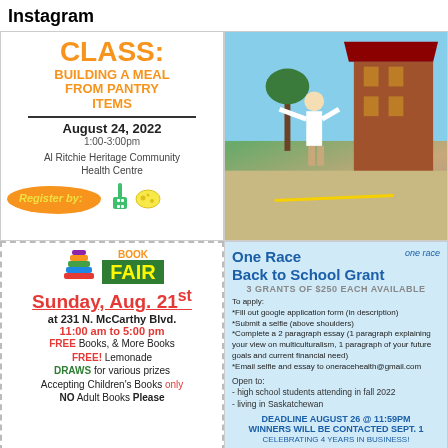Instagram
[Figure (infographic): Cooking class flyer: CLASS: BUILDING A MEAL FROM PANTRY ITEMS, August 24 2022, 1:00-3:00pm, Al Ritchie Heritage Community Health Centre, Register by: (with orange blob and cooking icons)]
[Figure (photo): Outdoor photo of a person gesturing in a town square or market area, with brick buildings and trees in background, sunny day]
[Figure (infographic): Book Fair flyer: Sunday Aug. 21st at 231 N. McCarthy Blvd., 11:00 am to 5:00 pm, FREE Books & More Books, FREE! Lemonade, DRAWS for various prizes, Accepting Children's Books only, NO Adult Books Please]
[Figure (infographic): One Race Back to School Grant flyer: 3 GRANTS OF $250 EACH AVAILABLE. To apply: fill out google application form, submit a selfie, complete a 2 paragraph essay, email to oneracehealth@gmail.com. Open to high school students attending in fall 2022, living in Saskatchewan. DEADLINE AUGUST 26 @ 11:59PM. WINNERS WILL BE CONTACTED SEPT. 1. CELEBRATING 4 YEARS IN BUSINESS!]